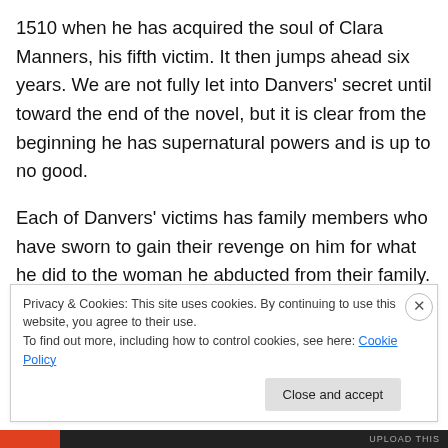1510 when he has acquired the soul of Clara Manners, his fifth victim. It then jumps ahead six years. We are not fully let into Danvers' secret until toward the end of the novel, but it is clear from the beginning he has supernatural powers and is up to no good.
Each of Danvers' victims has family members who have sworn to gain their revenge on him for what he did to the woman he abducted from their family. What these people do not know is that Danvers is one person and not several generations of men, due to his ability to change his age
Privacy & Cookies: This site uses cookies. By continuing to use this website, you agree to their use.
To find out more, including how to control cookies, see here: Cookie Policy